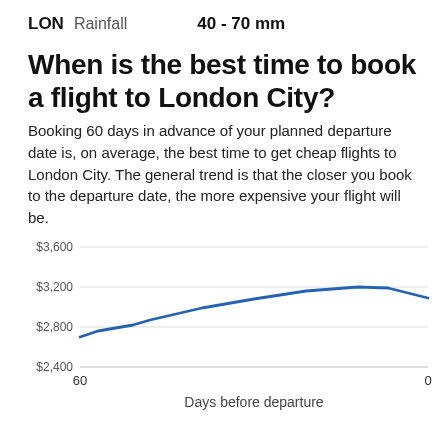LON   Rainfall   40 - 70 mm
When is the best time to book a flight to London City?
Booking 60 days in advance of your planned departure date is, on average, the best time to get cheap flights to London City. The general trend is that the closer you book to the departure date, the more expensive your flight will be.
[Figure (line-chart): Flight price vs. days before departure]